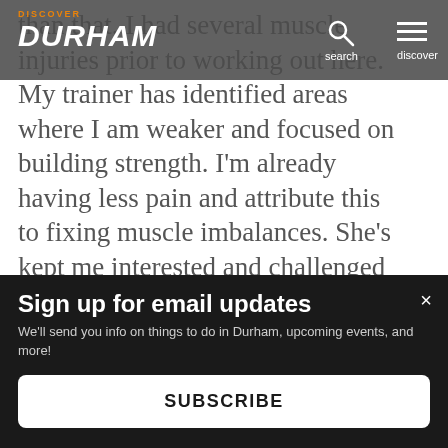DISCOVER DURHAM — navigation bar with search and discover menu
than that. I had several muscle injuries prior to working out here. My trainer has identified areas where I am weaker and focused on building strength. I'm already having less pain and attribute this to fixing muscle imbalances. She's kept me interested and challenged by Ev... an...
This website uses cookies to ensure you get the best experience on our website.
Sign up for email updates
We'll send you info on things to do in Durham, upcoming events, and more!
SUBSCRIBE